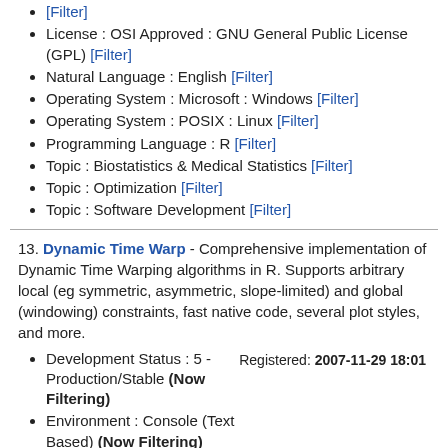[Filter] (top, truncated)
License : OSI Approved : GNU General Public License (GPL) [Filter]
Natural Language : English [Filter]
Operating System : Microsoft : Windows [Filter]
Operating System : POSIX : Linux [Filter]
Programming Language : R [Filter]
Topic : Biostatistics & Medical Statistics [Filter]
Topic : Optimization [Filter]
Topic : Software Development [Filter]
13. Dynamic Time Warp - Comprehensive implementation of Dynamic Time Warping algorithms in R. Supports arbitrary local (eg symmetric, asymmetric, slope-limited) and global (windowing) constraints, fast native code, several plot styles, and more.
Development Status : 5 - Production/Stable (Now Filtering)
Environment : Console (Text Based) (Now Filtering)
Intended Audience : End Users/Desktop [Filter]
License : OSI Approved : GNU General Public License (GPL) [Filter]
Natural Language : English [Filter]
Registered: 2007-11-29 18:01